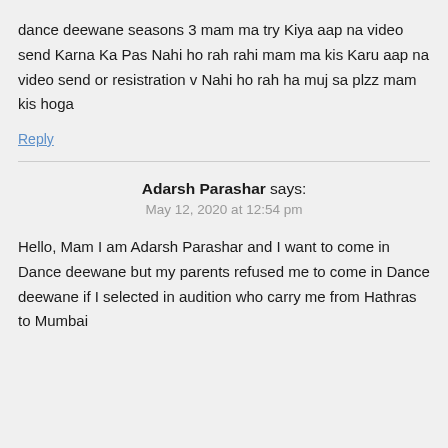dance deewane seasons 3 mam ma try Kiya aap na video send Karna Ka Pas Nahi ho rah rahi mam ma kis Karu aap na video send or resistration v Nahi ho rah ha muj sa plzz mam kis hoga
Reply
Adarsh Parashar says:
May 12, 2020 at 12:54 pm
Hello, Mam I am Adarsh Parashar and I want to come in Dance deewane but my parents refused me to come in Dance deewane if I selected in audition who carry me from Hathras to Mumbai